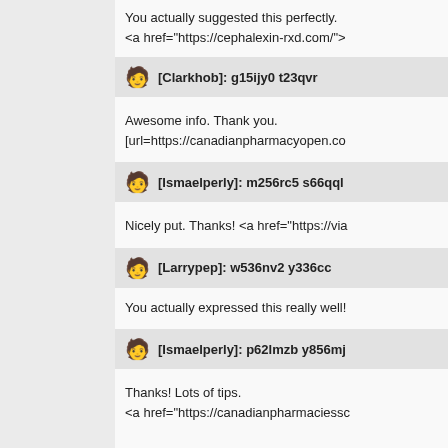You actually suggested this perfectly. <a href="https://cephalexin-rxd.com/">
[Clarkhob]: g15ijy0 t23qvr
Awesome info. Thank you. [url=https://canadianpharmacyopen.co
[Ismaelperly]: m256rc5 s66qql
Nicely put. Thanks! <a href="https://via
[Larrypep]: w536nv2 y336cc
You actually expressed this really well!
[Ismaelperly]: p62lmzb y856mj
Thanks! Lots of tips. <a href="https://canadianpharmaciessc